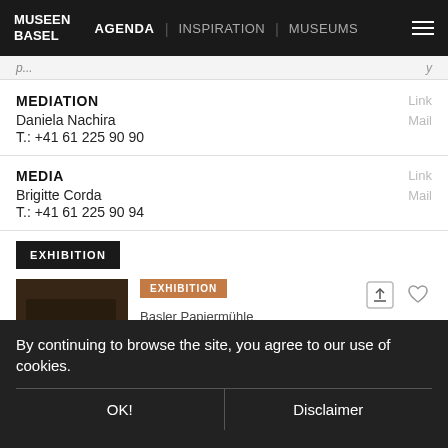MUSEEN BASEL | AGENDA | INSPIRATION | MUSEUMS
MEDIATION
Daniela Nachira
T.: +41 61 225 90 90
Link
Mail
MEDIA
Brigitte Corda
T.: +41 61 225 90 94
Link
Mail
EXHIBITION
[Figure (photo): Hand touching dark textured material, exhibition photo for Basler Papiermühle]
EXHIBITION
Basler Papiermühle
THE HANDS-ON MUSEUM WHERE YOU CAN GE...
By continuing to browse the site, you agree to our use of cookies.
OK!
Disclaimer